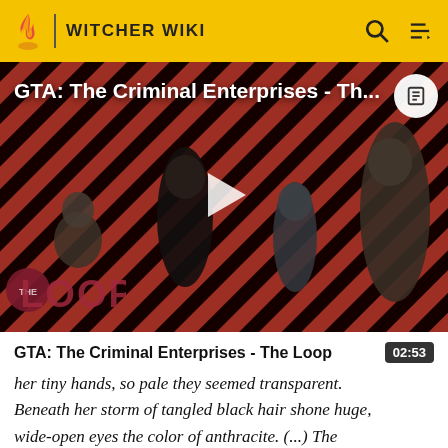WITCHER WIKI
[Figure (screenshot): Video thumbnail for GTA: The Criminal Enterprises - The Loop, showing game characters in front of a red and black diagonal striped background with The Loop logo. A white play button triangle is centered on the image.]
GTA: The Criminal Enterprises - The Loop
her tiny hands, so pale they seemed transparent. Beneath her storm of tangled black hair shone huge, wide-open eyes the color of anthracite. (...) The creature glued to the dolphin's back followed him with